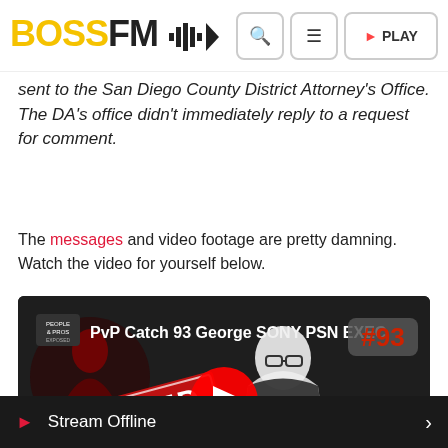BOSS FM [logo with waveform] | Search | Menu | PLAY
sent to the San Diego County District Attorney's Office. The DA's office didn't immediately reply to a request for comment.
The messages and video footage are pretty damning. Watch the video for yourself below.
[Figure (screenshot): YouTube video thumbnail showing a man with glasses and text 'PvP Catch 93 George SONY PSN EXEC #93' with 'BUSTED' stamp and YouTube play button overlay]
Stream Offline